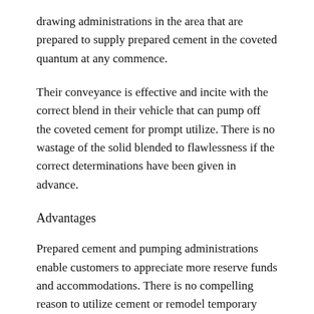drawing administrations in the area that are prepared to supply prepared cement in the coveted quantum at any commence.
Their conveyance is effective and incite with the correct blend in their vehicle that can pump off the coveted cement for prompt utilize. There is no wastage of the solid blended to flawlessness if the correct determinations have been given in advance.
Advantages
Prepared cement and pumping administrations enable customers to appreciate more reserve funds and accommodations. There is no compelling reason to utilize cement or remodel temporary workers for little occupations which can be taken care of actually.